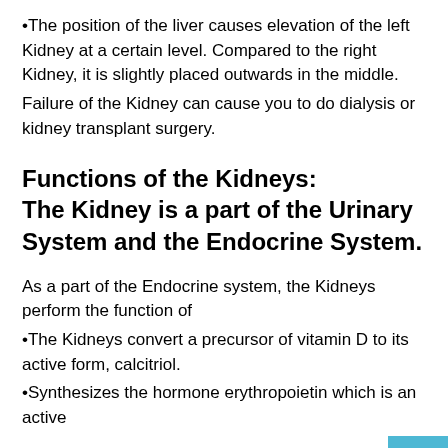•The position of the liver causes elevation of the left Kidney at a certain level. Compared to the right Kidney, it is slightly placed outwards in the middle.
Failure of the Kidney can cause you to do dialysis or kidney transplant surgery.
Functions of the Kidneys: The Kidney is a part of the Urinary System and the Endocrine System.
As a part of the Endocrine system, the Kidneys perform the function of
•The Kidneys convert a precursor of vitamin D to its active form, calcitriol.
•Synthesizes the hormone erythropoietin which is an active